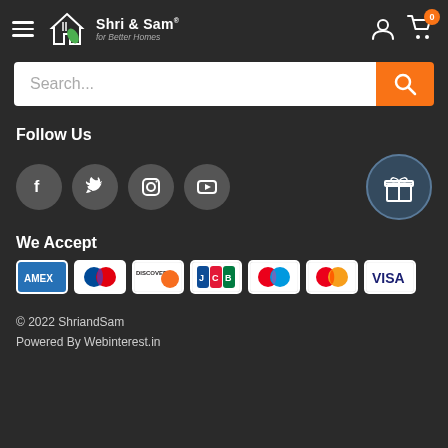Shri & Sam for Better Homes
Search...
Follow Us
[Figure (other): Social media icons: Facebook, Twitter, Instagram, YouTube and a gift box icon]
We Accept
[Figure (other): Payment method icons: AMEX, Diners Club, Discover, JCB, Maestro, Mastercard, Visa]
© 2022 ShriandSam
Powered By Webinterest.in